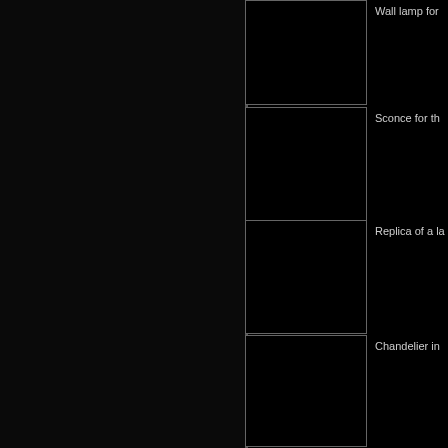[Figure (photo): Black image thumbnail placeholder for wall lamp]
Wall lamp for
[Figure (photo): Black image thumbnail placeholder for sconce]
Sconce for th
[Figure (photo): Black image thumbnail placeholder for replica lamp]
Replica of a la
[Figure (photo): Black image thumbnail placeholder for chandelier]
Chandelier in